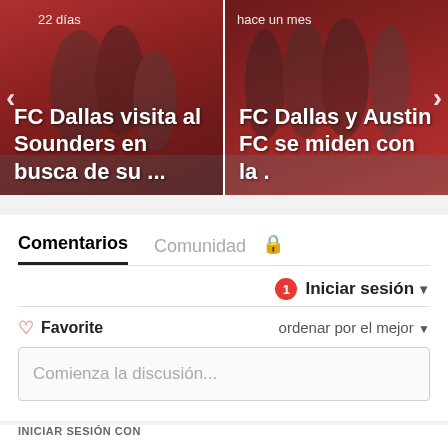[Figure (photo): Two news article cards in a carousel. Left card: soccer players in red jerseys celebrating, timestamp '22 días', headline 'FC Dallas visita al Sounders en busca de su ...'. Right card: soccer team in red posing, timestamp 'hace un mes', headline 'FC Dallas y Austin FC se miden con la .']
Comentarios  Comunidad  🔒
1  Iniciar sesión ▾
♡ Favorite   ordenar por el mejor ▾
Comienza la discusión...
INICIAR SESIÓN CON
[Figure (illustration): Four social login icons: Disqus (blue chat bubble with D), Facebook (dark blue circle with f), Twitter (light blue circle with bird), Google (red circle with G)]